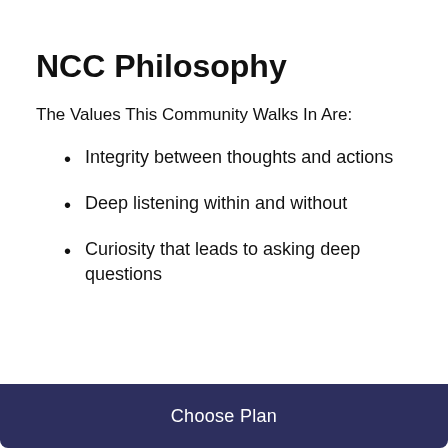NCC Philosophy
The Values This Community Walks In Are:
Integrity between thoughts and actions
Deep listening within and without
Curiosity that leads to asking deep questions
Choose Plan